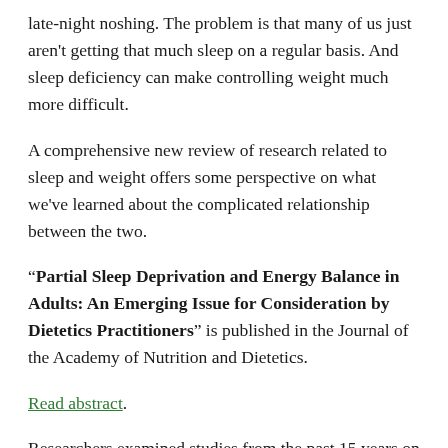late-night noshing. The problem is that many of us just aren't getting that much sleep on a regular basis. And sleep deficiency can make controlling weight much more difficult.
A comprehensive new review of research related to sleep and weight offers some perspective on what we've learned about the complicated relationship between the two.
“Partial Sleep Deprivation and Energy Balance in Adults: An Emerging Issue for Consideration by Dietetics Practitioners” is published in the Journal of the Academy of Nutrition and Dietetics.
Read abstract.
Researchers examined studies from the past 15 years on the possible influence of partial sleep deprivation and weight control. They emerged with a broad consensus: partial sleep deprivation appears to have a significant impact on weight—